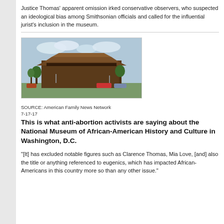Justice Thomas’ apparent omission irked conservative observers, who suspected an ideological bias among Smithsonian officials and called for the influential jurist’s inclusion in the museum.
[Figure (photo): Photograph of the National Museum of African American History and Culture building in Washington D.C., a large bronze-colored tiered structure with trees in the foreground.]
SOURCE: American Family News Network
7-17-17
This is what anti-abortion activists are saying about the National Museum of African-American History and Culture in Washington, D.C.
“[It] has excluded notable figures such as Clarence Thomas, Mia Love, [and] also the title or anything referenced to eugenics, which has impacted African-Americans in this country more so than any other issue.”